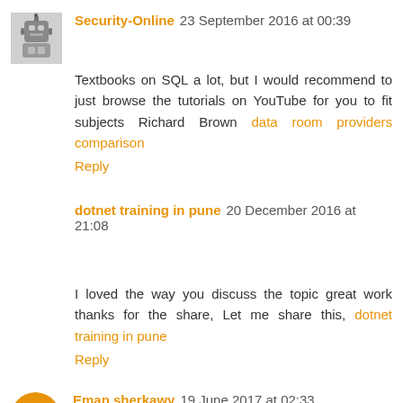[Figure (photo): Small robot avatar thumbnail for Security-Online commenter]
Security-Online 23 September 2016 at 00:39
Textbooks on SQL a lot, but I would recommend to just browse the tutorials on YouTube for you to fit subjects Richard Brown data room providers comparison
Reply
dotnet training in pune 20 December 2016 at 21:08
I loved the way you discuss the topic great work thanks for the share, Let me share this, dotnet training in pune
Reply
[Figure (logo): Orange circle B blogger avatar for Eman sherkawy]
Eman sherkawy 19 June 2017 at 02:33